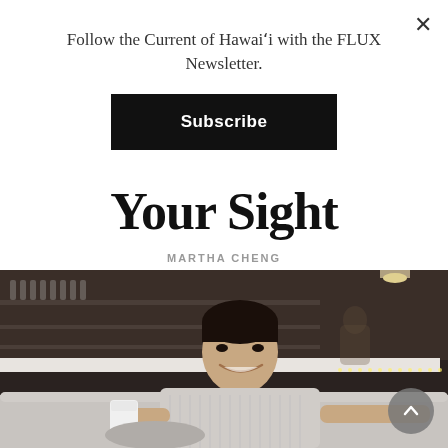Follow the Current of Hawai'i with the FLUX Newsletter.
Subscribe
Your Sight
MARTHA CHENG
[Figure (photo): A smiling man in a light-colored button-up shirt sits on a couch in what appears to be a modern café or lounge, holding a white cup. The background shows shelving with glasses and bar equipment.]